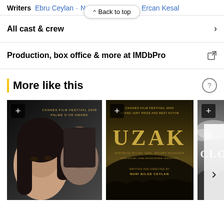Writers  Ebru Ceylan · Nuri Bilge Ceylan · Ercan Kesal
^ Back to top
All cast & crew
Production, box office & more at IMDbPro
More like this
[Figure (photo): Movie poster 1 showing two faces close-up]
[Figure (photo): Movie poster for UZAK with Cannes Film Festival label]
[Figure (photo): Partial movie poster CLO... with landscape]